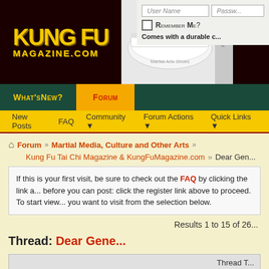KungFuMagazine.com - Forum
[Figure (logo): Kung Fu Magazine.com logo in yellow on dark background]
[Figure (photo): White martial arts shoes advertisement]
User Name | Password | Remember Me? | Comes with a durable c...
What's New? | Forum
New Posts | FAQ | Community | Forum Actions | Quick Links
Forum > Martial Media, Culture and Other Arts > Kung Fu Tai Chi Magazine & KungFuMagazine.com > Dear Gen...
If this is your first visit, be sure to check out the FAQ by clicking the link above. You may have to register before you can post: click the register link above to proceed. To start viewing messages, select the forum that you want to visit from the selection below.
Results 1 to 15 of 26
Thread: Dear Gene...
Thread T...
10-29-2001, 06:41 AM
SolarStance
Guest
Dear Gene